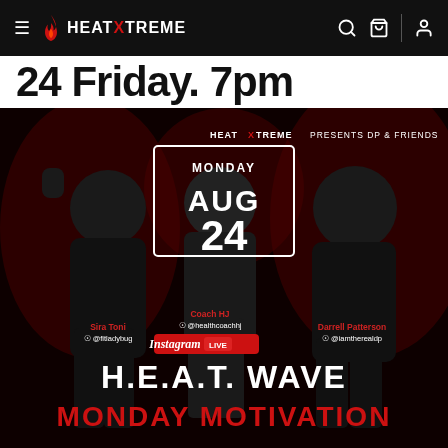HEAT X TREME — navigation bar with search, cart, and account icons
24 Friday. 7pm
[Figure (photo): Event promotional poster for HeatXtreme presents DP & Friends — Instagram LIVE event on Monday August 24. Features three fitness personalities: Sira Toni (@fitladybug), Coach HJ (@healthcoachhj), and Darrell Patterson (@iamtherealdp). Text reads H.E.A.T. WAVE MONDAY MOTIVATION.]